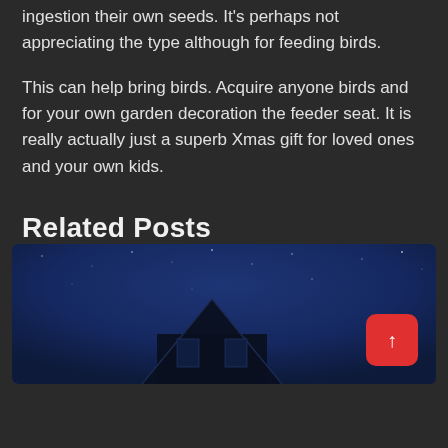ingestion their own seeds. It's perhaps not appreciating the type although for feeding birds.
This can help bring birds. Acquire anyone birds and for your own garden decoration the feeder seat. It is really actually just a superb Xmas gift for loved ones and your own kids.
Related Posts
[Figure (photo): Nighttime photo of a house or building rooftop against a dark blue starry sky, with a red scroll-to-top button overlaid in the bottom right corner]